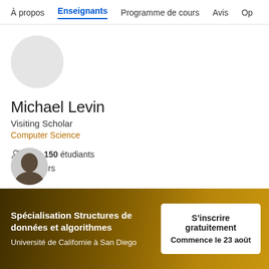À propos  Enseignants  Programme de cours  Avis  Op
[Figure (photo): Circular avatar placeholder, light grey, no photo]
Michael Levin
Visiting Scholar
Computer Science
580 150 étudiants
6 cours
[Figure (photo): Partial circular profile photo of a person, bottom of page area]
Spécialisation Structures de données et algorithmes
Université de Californie à San Diego
S'inscrire gratuitement
Commence le 23 août